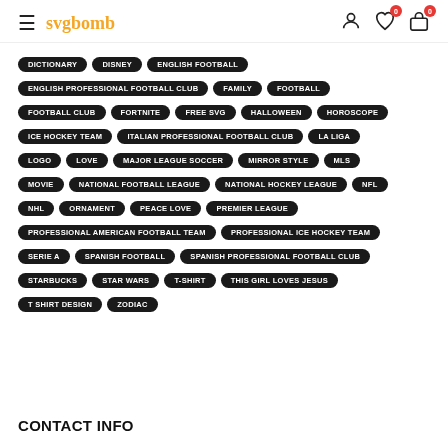svgbomb — navigation header with hamburger menu, logo, user icon, wishlist (0), cart (0)
DICTIONARY
DISNEY
ENGLISH FOOTBALL
ENGLISH PROFESSIONAL FOOTBALL CLUB
FAMILY
FOOTBALL
FOOTBALL CLUB
FORTNITE
FREE SVG
HALLOWEEN
HOROSCOPE
ICE HOCKEY TEAM
ITALIAN PROFESSIONAL FOOTBALL CLUB
LA LIGA
LOGO
LOVE
MAJOR LEAGUE SOCCER
MIRROR STYLE
MLS
MOVIE
NATIONAL FOOTBALL LEAGUE
NATIONAL HOCKEY LEAGUE
NFL
NHL
ORNAMENT
PEACE LOVE
PREMIER LEAGUE
PROFESSIONAL AMERICAN FOOTBALL TEAM
PROFESSIONAL ICE HOCKEY TEAM
SERIE A
SPANISH FOOTBALL
SPANISH PROFESSIONAL FOOTBALL CLUB
STARBUCKS
STAR WARS
T-SHIRT
THIS GIRL LOVES JESUS
T SHIRT DESIGN
ZODIAC
CONTACT INFO